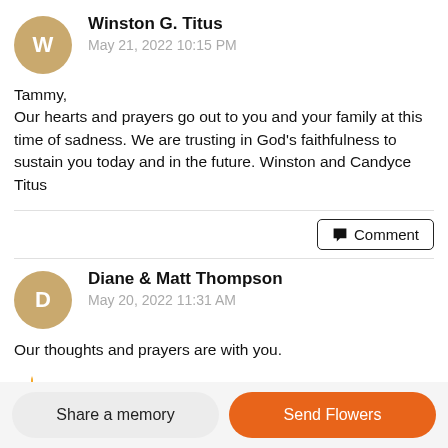Winston G. Titus
May 21, 2022 10:15 PM
Tammy,
Our hearts and prayers go out to you and your family at this time of sadness. We are trusting in God's faithfulness to sustain you today and in the future. Winston and Candyce Titus
Comment
Diane & Matt Thompson
May 20, 2022 11:31 AM
Our thoughts and prayers are with you.
A candle was lit in remembrance.
Share a memory
Send Flowers